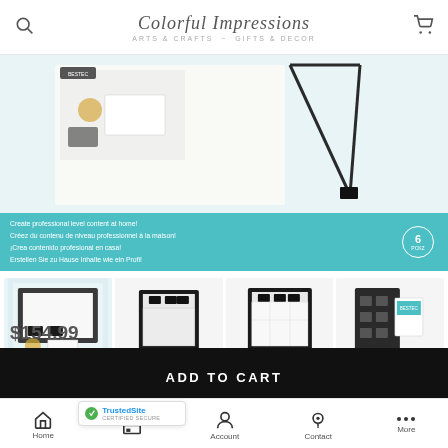Colorful Impressions — ARTS & CRAFTS ~ GIFTS & DECOR
[Figure (photo): Product photo showing a light box photography studio with accessories on a white/teal background]
Create professional level content at home!
Créez du contenu de niveau professionnel à la maison!
¡Crea contenido profesional en casa!
Erstellen Sie zu Hause Inhalte wie ein Profi!
[Figure (photo): Four product thumbnail images showing the light box photography studio from different angles and configurations]
$154.99
ADD TO CART
30-DAY RETURNS
Home | Account | Contact | More